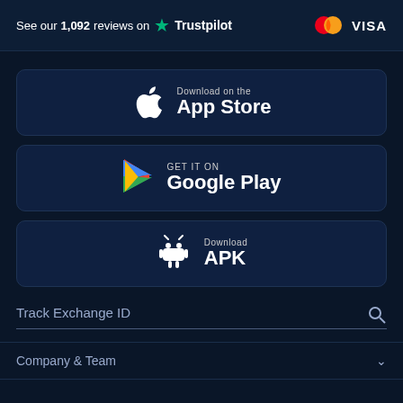See our 1,092 reviews on ★ Trustpilot
[Figure (logo): Mastercard logo and VISA logo payment icons]
[Figure (illustration): Download on the App Store button with Apple icon]
[Figure (illustration): GET IT ON Google Play button with Play Store icon]
[Figure (illustration): Download APK button with Android icon]
Track Exchange ID
Company & Team